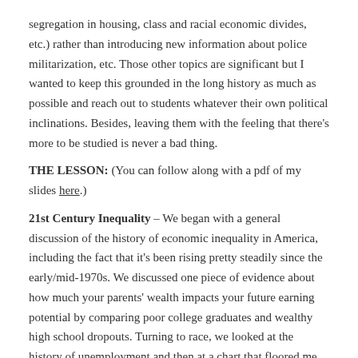segregation in housing, class and racial economic divides, etc.) rather than introducing new information about police militarization, etc. Those other topics are significant but I wanted to keep this grounded in the long history as much as possible and reach out to students whatever their own political inclinations. Besides, leaving them with the feeling that there's more to be studied is never a bad thing.
THE LESSON: (You can follow along with a pdf of my slides here.)
21st Century Inequality – We began with a general discussion of the history of economic inequality in America, including the fact that it's been rising pretty steadily since the early/mid-1970s. We discussed one piece of evidence about how much your parents' wealth impacts your future earning potential by comparing poor college graduates and wealthy high school dropouts. Turning to race, we looked at the history of unemployment and then at a chart that floored me when I first saw it.
According to the Pew Research Center, in 2009 the Median Net Worth of a White Household was $113,149. The comparable